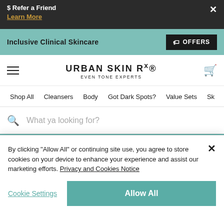$ Refer a Friend
Learn More
Inclusive Clinical Skincare
OFFERS
URBAN SKIN Rx
EVEN TONE EXPERTS
Shop All
Cleansers
Body
Got Dark Spots?
Value Sets
Sk
What ya looking for?
PRO STRENGTH COLLECTION™
hydrabalance brightening moisture
By clicking "Allow All" or continuing site use, you agree to store cookies on your device to enhance your experience and assist our marketing efforts. Privacy and Cookies Notice
Cookie Settings
Allow All